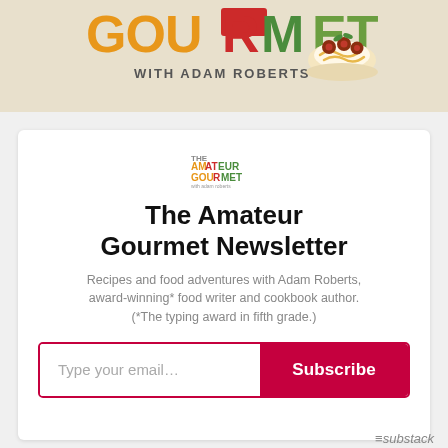[Figure (logo): Amateur Gourmet with Adam Roberts banner logo with colorful letters and spaghetti bowl illustration on beige background]
[Figure (logo): Small Amateur Gourmet with Adam Roberts logo in newsletter card]
The Amateur Gourmet Newsletter
Recipes and food adventures with Adam Roberts, award-winning* food writer and cookbook author. (*The typing award in fifth grade.)
Type your email…  Subscribe
≡substack